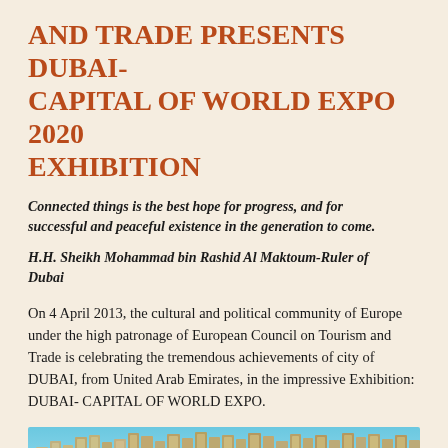AND TRADE PRESENTS DUBAI- CAPITAL OF WORLD EXPO 2020 EXHIBITION
Connected things is the best hope for progress, and for successful and peaceful existence in the generation to come.
H.H. Sheikh Mohammad bin Rashid Al Maktoum-Ruler of Dubai
On 4 April 2013, the cultural and political community of Europe under the high patronage of European Council on Tourism and Trade is celebrating the tremendous achievements of city of DUBAI, from United Arab Emirates, in the impressive Exhibition: DUBAI- CAPITAL OF WORLD EXPO.
[Figure (photo): Aerial photograph of Dubai skyline showing tall residential towers along a beachfront with turquoise sea water in the background]